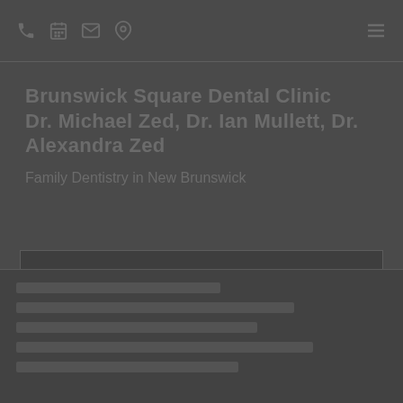Navigation icons: phone, calendar, email, location, menu
Brunswick Square Dental Clinic Dr. Michael Zed, Dr. Ian Mullett, Dr. Alexandra Zed
Family Dentistry in New Brunswick
[Figure (other): Search or input box area, dark rectangle with border]
Bottom section content placeholder rows